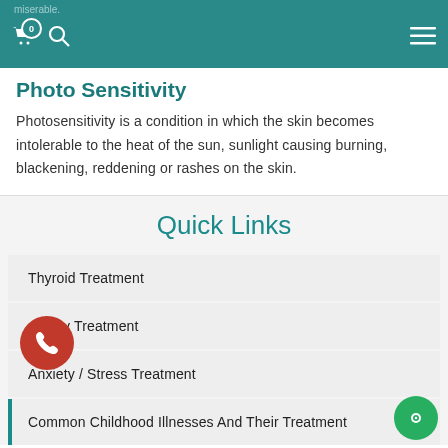miserable.
Photo Sensitivity
Photosensitivity is a condition in which the skin becomes intolerable to the heat of the sun, sunlight causing burning, blackening, reddening or rashes on the skin.
Quick Links
Thyroid Treatment
Acidity Treatment
Anxiety / Stress Treatment
Common Childhood Illnesses And Their Treatment